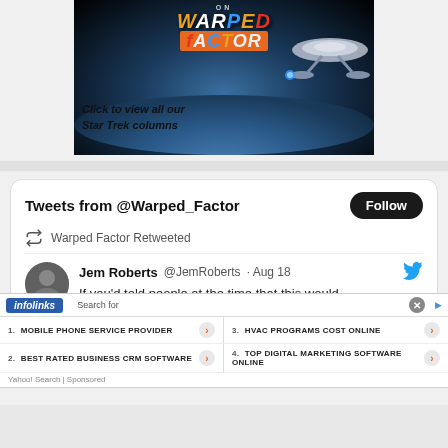[Figure (illustration): Warped Factor website banner showing a Star Trek spaceship over Earth with text 'Click to view all our Star Trek columns']
[Figure (screenshot): Twitter widget showing 'Tweets from @Warped_Factor' with a Follow button, a retweet by Warped Factor of Jem Roberts @JemRoberts from Aug 18, with text 'If you'd told people at the time that this would']
[Figure (infographic): Infolinks sponsored search ad overlay with 4 items: 1. MOBILE PHONE SERVICE PROVIDER, 2. BEST RATED BUSINESS CRM SOFTWARE, 3. HVAC PROGRAMS COST ONLINE, 4. TOP DIGITAL MARKETING SOFTWARE ONLINE. Yahoo Search | Sponsored]